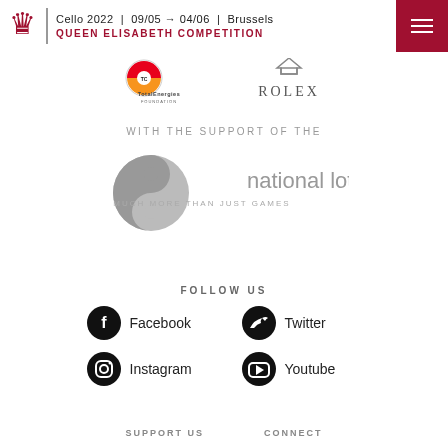Cello 2022 | 09/05 → 04/06 | Brussels QUEEN ELISABETH COMPETITION
[Figure (logo): TotalEnergies Foundation logo and Rolex logo side by side]
WITH THE SUPPORT OF THE
[Figure (logo): National Lottery logo - much more than just games]
FOLLOW US
Facebook
Twitter
Instagram
Youtube
SUPPORT US   CONNECT